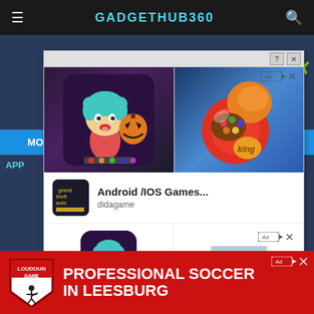GADGETHUB360
[Figure (screenshot): Ad popup showing Android/iOS game icons - Toca Life World character with pumpkin on left, Candy Crush Saga candies on right]
Android /IOS Games...
didagame
[Figure (screenshot): App store ad showing TocaLifeWorld and Human:FallFlat app icons with labels]
TocaLifeWorld
Human:FallFlat
[Figure (infographic): Soccer advertisement - PROFESSIONAL SOCCER IN LEESBURG with Loudoun Game logo]